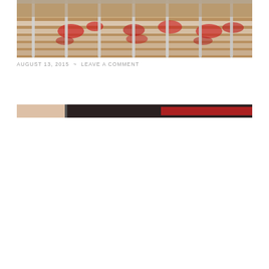[Figure (photo): Close-up photo of what appears to be stacked documents or papers in a metal rack/holder, with red ink or markings visible on white sheets, viewed through metal grid bars.]
AUGUST 13, 2015  ~  LEAVE A COMMENT
[Figure (photo): Partial/cropped image strip showing a blurred scene with dark, red, and white elements, appears to be the same or related document/paper image.]